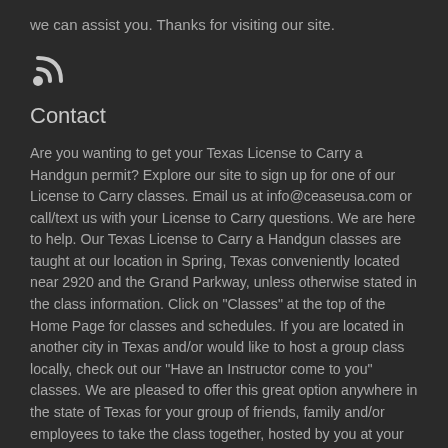we can assist you. Thanks for visiting our site.
[Figure (illustration): RSS feed icon (wifi/signal symbol) in light gray on dark background]
Contact
Are you wanting to get your Texas License to Carry a Handgun permit? Explore our site to sign up for one of our License to Carry classes. Email us at info@ceaseusa.com or call/text us with your License to Carry questions. We are here to help. Our Texas License to Carry a Handgun classes are taught at our location in Spring, Texas conveniently located near 2920 and the Grand Parkway, unless otherwise stated in the class information. Click on "Classes" at the top of the Home Page for classes and schedules. If you are located in another city in Texas and/or would like to host a group class locally, check out our "Have an Instructor come to you" classes. We are pleased to offer this great option anywhere in the state of Texas for your group of friends, family and/or employees to take the class together, hosted by you at your home or business. Click on "Classes" at the top and see this course info on page 2.